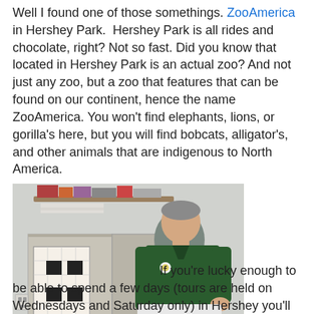Well I found one of those somethings. ZooAmerica in Hershey Park.  Hershey Park is all rides and chocolate, right? Not so fast. Did you know that located in Hershey Park is an actual zoo? And not just any zoo, but a zoo that features that can be found on our continent, hence the name ZooAmerica. You won't find elephants, lions, or gorilla's here, but you will find bobcats, alligator's, and other animals that are indigenous to North America.
[Figure (photo): A man in a dark green polo shirt standing in what appears to be an indoor facility, looking down at something he is holding. Behind him are shelves with papers and a cabinet with a target board.]
If you're lucky enough to be able to spend a few days (tours are held on Wednesdays and Saturday only) in Hershey you'll be able to head over to ZooAmerica after closing to take part of their After-Hours Tour. This tour can accommodate up to 10